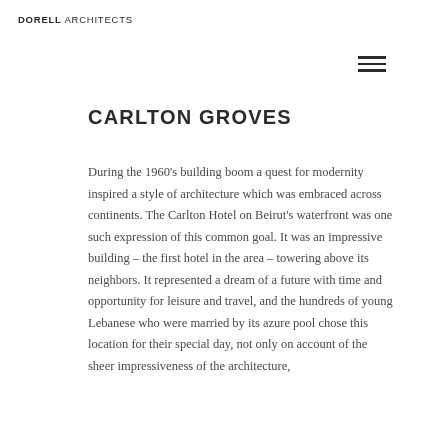DORELL ARCHITECTS
CARLTON GROVES
During the 1960's building boom a quest for modernity inspired a style of architecture which was embraced across continents. The Carlton Hotel on Beirut's waterfront was one such expression of this common goal. It was an impressive building – the first hotel in the area – towering above its neighbors. It represented a dream of a future with time and opportunity for leisure and travel, and the hundreds of young Lebanese who were married by its azure pool chose this location for their special day, not only on account of the sheer impressiveness of the architecture,